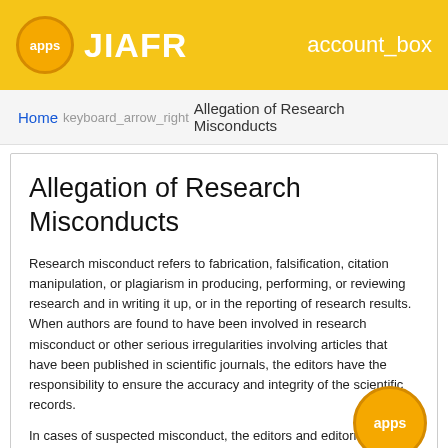apps  JIAFR  account_box
Home keyboard_arrow_right Allegation of Research Misconducts
Allegation of Research Misconducts
Research misconduct refers to fabrication, falsification, citation manipulation, or plagiarism in producing, performing, or reviewing research and in writing it up, or in the reporting of research results. When authors are found to have been involved in research misconduct or other serious irregularities involving articles that have been published in scientific journals, the editors have the responsibility to ensure the accuracy and integrity of the scientific records.
In cases of suspected misconduct, the editors and editorial board will use the best practices of COPE to